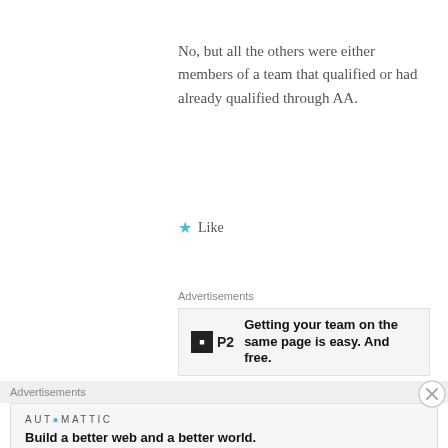No, but all the others were either members of a team that qualified or had already qualified through AA.
★ Like
Advertisements
[Figure (other): P2 advertisement banner: logo with black box and P2 text, ad copy 'Getting your team on the same page is easy. And free.']
REPORT THIS AD
[Figure (illustration): Green and white decorative circular logo for user scorpiodancer]
scorpiodancer
Advertisements
[Figure (other): Automattic advertisement: logo text 'AUTOMATTIC' with teal @ symbol, ad copy 'Build a better web and a better world.']